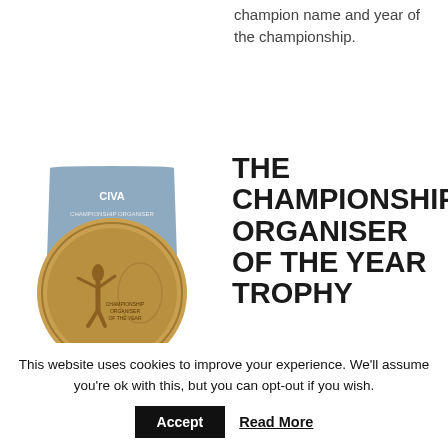champion name and year of the championship.
[Figure (photo): CIVA Championship Organiser of the Year Trophy — a bronze medallion mounted on a shield-shaped blue plaque with a wooden base.]
THE CHAMPIONSHIP ORGANISER OF THE YEAR TROPHY
Best Championship Organiser
This website uses cookies to improve your experience. We'll assume you're ok with this, but you can opt-out if you wish.
Accept
Read More